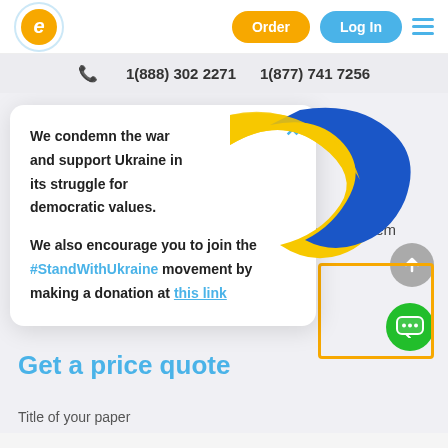Order | Log In | hamburger menu
1(888) 302 2271   1(877) 741 7256
[Figure (illustration): Ukraine flag ribbon/wave in blue and yellow colors displayed in popup corner]
We condemn the war and support Ukraine in its struggle for democratic values.

We also encourage you to join the #StandWithUkraine movement by making a donation at this link
ew as many of them
Get a price quote
Title of your paper